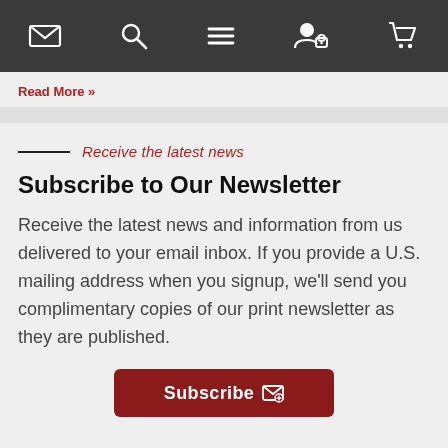[Navigation bar with icons: email, search, menu, account/lock, cart]
Read More »
Receive the latest news
Subscribe to Our Newsletter
Receive the latest news and information from us delivered to your email inbox. If you provide a U.S. mailing address when you signup, we'll send you complimentary copies of our print newsletter as they are published.
Subscribe